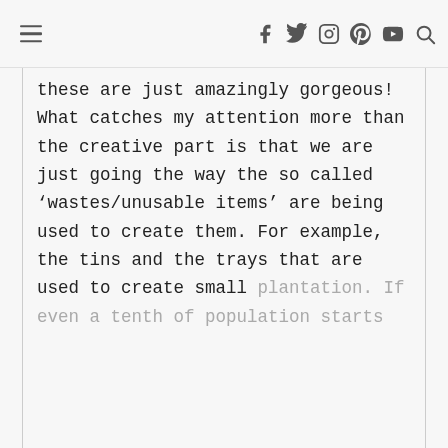☰  f  t  instagram  pinterest  youtube  search
these are just amazingly gorgeous! What catches my attention more than the creative part is that we are just going the way the so called ‘wastes/unusable items’ are being used to create them. For example, the tins and the trays that are used to create small plantation. If even a tenth of population starts